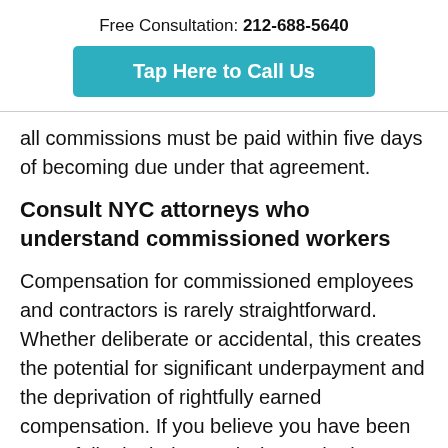Free Consultation: 212-688-5640
[Figure (other): Teal call-to-action button reading 'Tap Here to Call Us']
all commissions must be paid within five days of becoming due under that agreement.
Consult NYC attorneys who understand commissioned workers
Compensation for commissioned employees and contractors is rarely straightforward. Whether deliberate or accidental, this creates the potential for significant underpayment and the deprivation of rightfully earned compensation. If you believe you have been wrongfully denied commissions, whether you